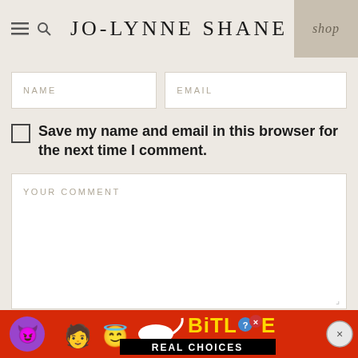JO-LYNNE SHANE — shop
NAME
EMAIL
Save my name and email in this browser for the next time I comment.
YOUR COMMENT
submit
[Figure (screenshot): BitLife Real Choices advertisement banner with emojis and colorful logo on red background]